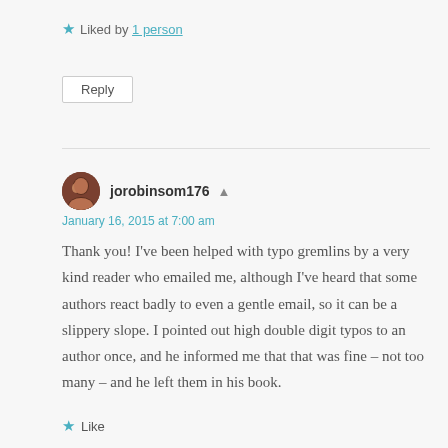Liked by 1 person
Reply
jorobinsom176
January 16, 2015 at 7:00 am
Thank you! I've been helped with typo gremlins by a very kind reader who emailed me, although I've heard that some authors react badly to even a gentle email, so it can be a slippery slope. I pointed out high double digit typos to an author once, and he informed me that that was fine – not too many – and he left them in his book.
Like